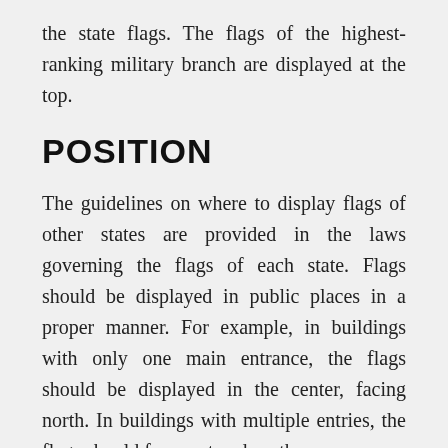the state flags. The flags of the highest-ranking military branch are displayed at the top.
POSITION
The guidelines on where to display flags of other states are provided in the laws governing the flags of each state. Flags should be displayed in public places in a proper manner. For example, in buildings with only one main entrance, the flags should be displayed in the center, facing north. In buildings with multiple entries, the flags should face east and north.
The flags should be displayed to increase importance, beginning with the United States. Then, follow with state and territorial flags, in alphabetical order. Finally, the flags of the training organizations, the Army